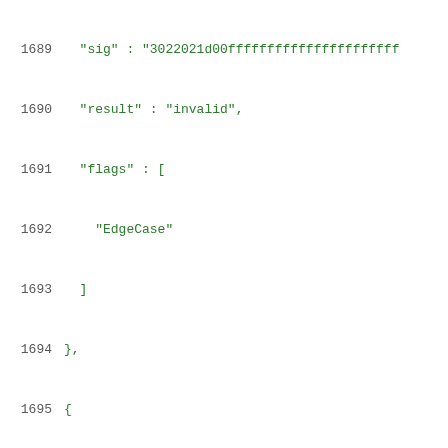Code listing lines 1689-1710 showing JSON test vector data with tcId, comment, msg, sig, result, and flags fields for signature edge case tests.